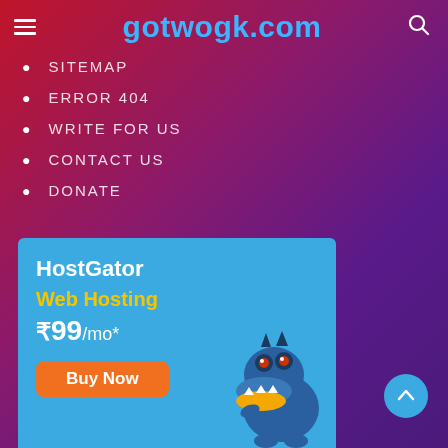gotwogk.com
SITEMAP
ERROR 404
WRITE FOR US
CONTACT US
DONATE
[Figure (infographic): HostGator web hosting advertisement banner showing 'HostGator', 'Web Hosting', '₹99/mo*', 'Buy Now' button, and a cartoon gator mascot on a blue background]